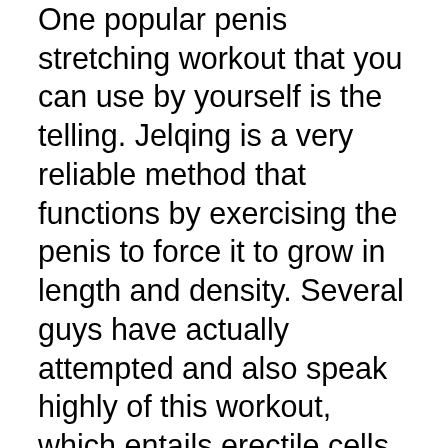One popular penis stretching workout that you can use by yourself is the telling. Jelqing is a very reliable method that functions by exercising the penis to force it to grow in length and density. Several guys have actually attempted and also speak highly of this workout, which entails erectile cells being extended to the point where it rips as well as the resulting tissue accumulation is made use of to assist tone the body organ. If you want to experience much better cause the room, see to it to stick to this easy penis augmentation workout routine.
A penis extension is an approach of including size to your penis that entails making use of an extender (a.k.a. dick ring, extender brace, or traction gadget) held in between your legs